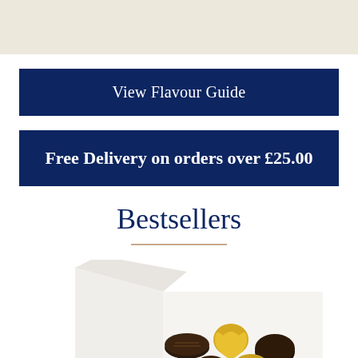[Figure (other): Cream/beige colored header bar at top of page]
View Flavour Guide
Free Delivery on orders over £25.00
Bestsellers
[Figure (photo): Photo of an open white box of assorted chocolates including dark chocolate pieces and lemon/gold-colored chocolates]